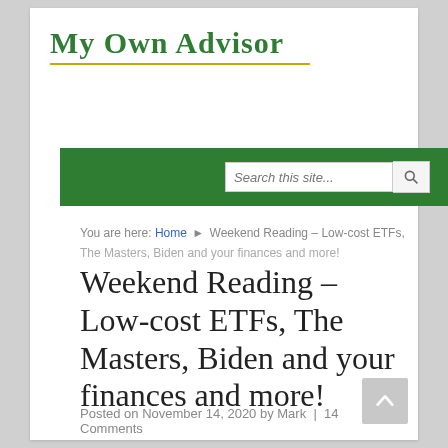My Own Advisor
[Figure (other): Green navigation bar with search box and magnifying glass icon]
You are here: Home ▶ Weekend Reading – Low-cost ETFs,
The Masters, Biden and your finances and more!
Weekend Reading – Low-cost ETFs, The Masters, Biden and your finances and more!
Posted on November 14, 2020 by Mark  |  14 Comments